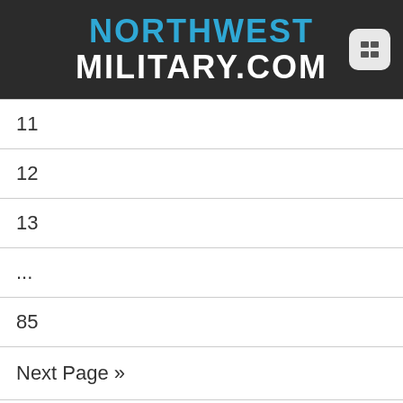NORTHWEST MILITARY.COM
11
12
13
...
85
Next Page »
Archives
Jason Harris
Suzy Stump on January 3rd, 2008